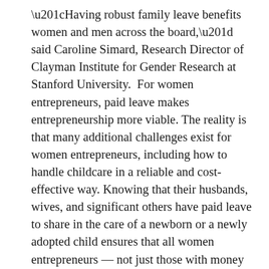“Having robust family leave benefits women and men across the board,” said Caroline Simard, Research Director of Clayman Institute for Gender Research at Stanford University.  For women entrepreneurs, paid leave makes entrepreneurship more viable. The reality is that many additional challenges exist for women entrepreneurs, including how to handle childcare in a reliable and cost-effective way. Knowing that their husbands, wives, and significant others have paid leave to share in the care of a newborn or a newly adopted child ensures that all women entrepreneurs — not just those with money — have the support and peace of mind they need when creating a family.
Offering paid leave makes companies more competitive. Tech companies are investing in paid leave to attract and retain top talent. While this is good, it also has the unintended consequence of